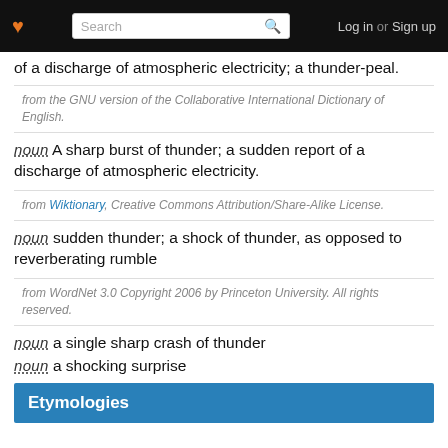Search | Log in or Sign up
of a discharge of atmospheric electricity; a thunder-peal.
from the GNU version of the Collaborative International Dictionary of English.
noun A sharp burst of thunder; a sudden report of a discharge of atmospheric electricity.
from Wiktionary, Creative Commons Attribution/Share-Alike License.
noun sudden thunder; a shock of thunder, as opposed to reverberating rumble
from WordNet 3.0 Copyright 2006 by Princeton University. All rights reserved.
noun a single sharp crash of thunder
noun a shocking surprise
Etymologies